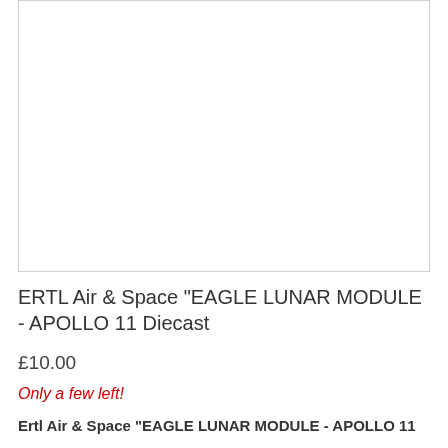[Figure (photo): Product image area – blank white space for ERTL Eagle Lunar Module Apollo 11 Diecast product photo]
ERTL Air & Space "EAGLE LUNAR MODULE - APOLLO 11 Diecast
£10.00
Only a few left!
Ertl Air & Space "EAGLE LUNAR MODULE - APOLLO 11